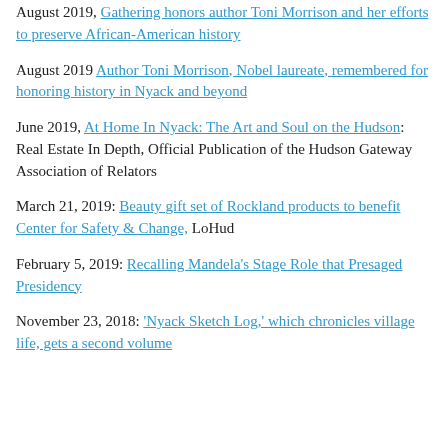August 2019, Gathering honors author Toni Morrison and her efforts to preserve African-American history
August 2019 Author Toni Morrison, Nobel laureate, remembered for honoring history in Nyack and beyond
June 2019, At Home In Nyack: The Art and Soul on the Hudson: Real Estate In Depth, Official Publication of the Hudson Gateway Association of Relators
March 21, 2019: Beauty gift set of Rockland products to benefit Center for Safety & Change, LoHud
February 5, 2019: Recalling Mandela's Stage Role that Presaged Presidency
November 23, 2018: 'Nyack Sketch Log,' which chronicles village life, gets a second volume